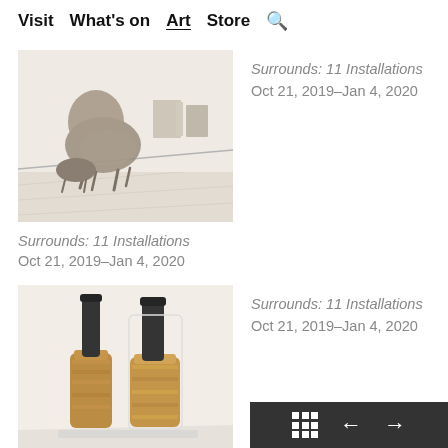Visit  What's on  Art  Store  🔍
[Figure (photo): Gallery installation photo showing a mid-century modern armchair and ottoman on a light wood floor, with framed artworks on a white wall in the background. Slightly blurred/soft focus.]
Surrounds: 11 Installations
Oct 21, 2019–Jan 4, 2020
Surrounds: 11 Installations
Oct 21, 2019–Jan 4, 2020
[Figure (photo): Gallery installation photo showing two tall ceramic/cork bottle-shaped sculptures with dark cylindrical necks on a light floor against a white wall.]
Surrounds: 11 Installations
Oct 21, 2019–Jan 4, 2020
Surrounds: 11 Installations
Oct 21, 2019–Jan 4, 2020